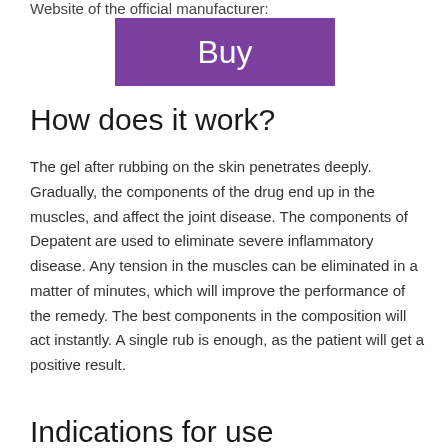Website of the official manufacturer:
[Figure (other): Purple 'Buy' button linking to manufacturer website]
How does it work?
The gel after rubbing on the skin penetrates deeply. Gradually, the components of the drug end up in the muscles, and affect the joint disease. The components of Depatent are used to eliminate severe inflammatory disease. Any tension in the muscles can be eliminated in a matter of minutes, which will improve the performance of the remedy. The best components in the composition will act instantly. A single rub is enough, as the patient will get a positive result.
Indications for use